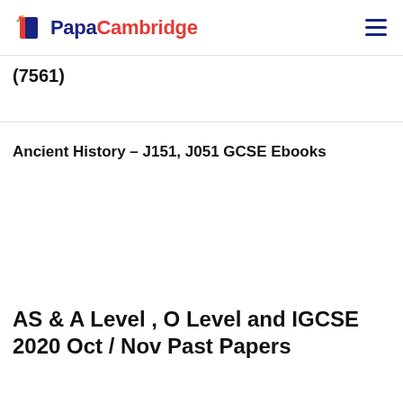PapaCambridge
(7561)
Ancient History – J151, J051 GCSE Ebooks
AS & A Level , O Level and IGCSE 2020 Oct / Nov Past Papers